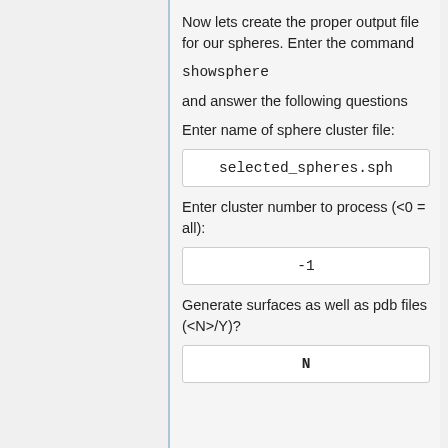Now lets create the proper output file for our spheres. Enter the command
showsphere
and answer the following questions
Enter name of sphere cluster file:
selected_spheres.sph
Enter cluster number to process (<0 = all):
-1
Generate surfaces as well as pdb files (<N>/Y)?
N